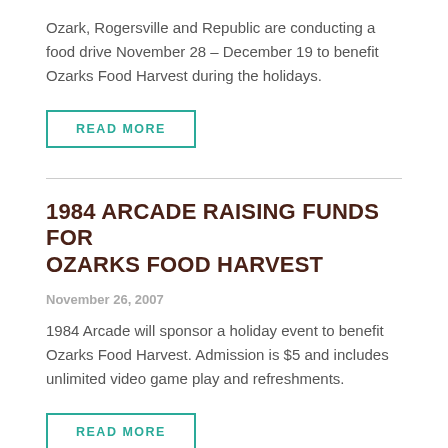Ozark, Rogersville and Republic are conducting a food drive November 28 – December 19 to benefit Ozarks Food Harvest during the holidays.
READ MORE
1984 ARCADE RAISING FUNDS FOR OZARKS FOOD HARVEST
November 26, 2007
1984 Arcade will sponsor a holiday event to benefit Ozarks Food Harvest. Admission is $5 and includes unlimited video game play and refreshments.
READ MORE